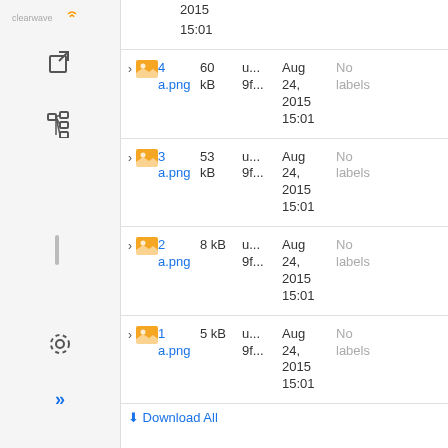[Figure (screenshot): Sidebar with Clearwave logo, navigation icons including external link, tree/hierarchy, settings gear, and double chevron]
2015 15:01
> [image icon] 4 a.png | 60 kB | u... 9f... | Aug 24, 2015 15:01 | No labels
> [image icon] 3 a.png | 53 kB | u... 9f... | Aug 24, 2015 15:01 | No labels
> [image icon] 2 a.png | 8 kB | u... 9f... | Aug 24, 2015 15:01 | No labels
> [image icon] 1 a.png | 5 kB | u... 9f... | Aug 24, 2015 15:01 | No labels
Download All